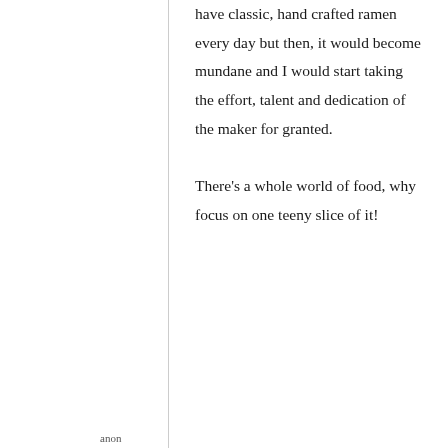have classic, hand crafted ramen every day but then, it would become mundane and I would start taking the effort, talent and dedication of the maker for granted.

There's a whole world of food, why focus on one teeny slice of it!
anon